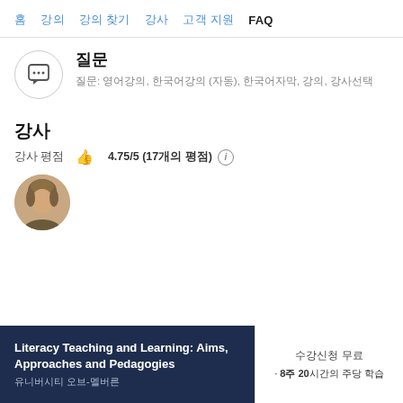홈 강의 강의 찾기 강사 고객 지원 FAQ
질문
질문: 영어강의, 한국어강의 (자동), 한국어자막, 강의, 강사선택
강사
강사 평점 👍 4.75/5 (17개의 평점) ℹ
[Figure (photo): Circular avatar photo of an instructor with brown/grey hair]
Literacy Teaching and Learning: Aims, Approaches and Pedagogies
유니버시티 오브-멜버른
수강신청 무료 · 8주 20시간의 주당 학습